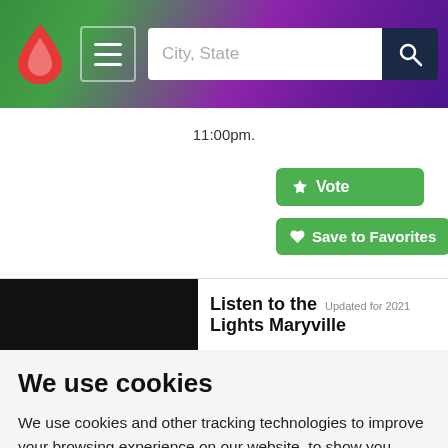City, State [search bar with navigation logo and hamburger menu]
11:00pm.
🏆 Vote
♥ Save to Favorites
View
[Figure (screenshot): Dark thumbnail image for article preview]
Listen to the Lights Maryville Updated for 2021
We use cookies
We use cookies and other tracking technologies to improve your browsing experience on our website, to show you personalized content and targeted ads, to analyze our website traffic, and to understand where our visitors are coming from.